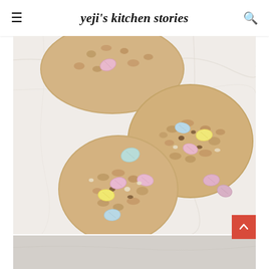yeji's kitchen stories
[Figure (photo): Overhead view of oatmeal cookies with pastel Easter egg candies (Cadbury Mini Eggs) on a white marble surface. Three large round oatmeal cookies are visible with colorful pastel-colored candy-coated chocolate eggs in pink, yellow, blue, and purple pressed into them, and a few loose eggs scattered on the marble.]
[Figure (photo): Partial view of another photo below — appears to show a lighter background, possibly another shot of the same cookies or a different recipe step.]